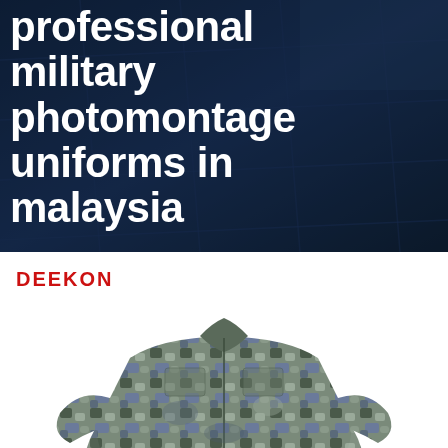[Figure (photo): Dark-toned photo of a worker in a striped uniform installing or working with solar panels, overlaid with large white bold text reading 'professional military photomontage uniforms in malaysia']
professional military photomontage uniforms in malaysia
[Figure (photo): Product photo of a digital camouflage military jacket/uniform on a white background, with DEEKON logo in red at the top left]
DEEKON